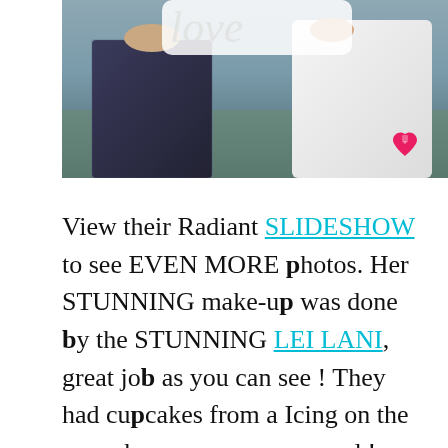[Figure (photo): Wedding couple holding a decorative sign, woman in white dress and man in suit, outdoors with a heart logo in the bottom right corner]
View their Radiant SLIDESHOW to see EVEN MORE photos. Her STUNNING make-up was done by the STUNNING LEI LANI, great job as you can see ! They had cupcakes from a Icing on the cupcake.....mmmmmm good !